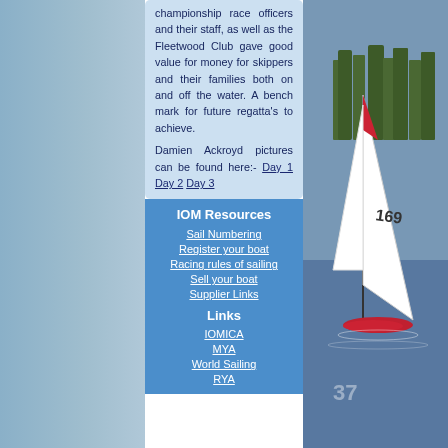championship race officers and their staff, as well as the Fleetwood Club gave good value for money for skippers and their families both on and off the water. A bench mark for future regatta's to achieve.
Damien Ackroyd pictures can be found here:- Day 1 Day 2 Day 3
[Figure (photo): Background photo of sailboat racing on water, with sail number 169 visible, trees in background]
IOM Resources
Sail Numbering
Register your boat
Racing rules of sailing
Sell your boat
Supplier Links
Links
IOMICA
MYA
World Sailing
RYA